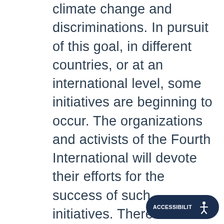climate change and discriminations. In pursuit of this goal, in different countries, or at an international level, some initiatives are beginning to occur. The organizations and activists of the Fourth International will devote their efforts for the success of such initiatives. There is an urgent need for social, anti-capitalist and revolutionary organizations and currents to coordinate, debate and establish joint actions at the regional and international level.

It will be impossible to return to a so called normal state before the Covid-19